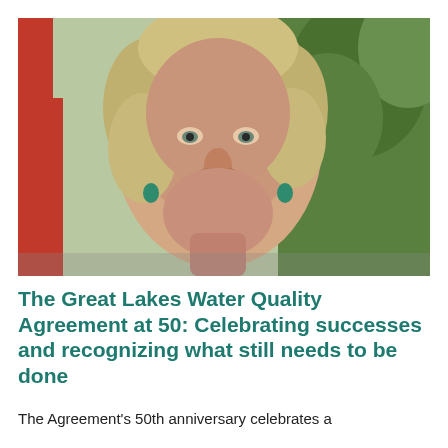[Figure (photo): Close-up portrait of a smiling middle-aged woman with short blonde-gray hair, wearing red clothing on the left side; green foliage visible in background on the right.]
The Great Lakes Water Quality Agreement at 50: Celebrating successes and recognizing what still needs to be done
The Agreement's 50th anniversary celebrates a